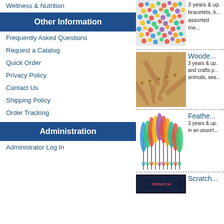Wellness & Nutrition
Other Information
Frequently Asked Questions
Request a Catalog
Quick Order
Privacy Policy
Contact Us
Shipping Policy
Order Tracking
Administration
Administrator Log In
[Figure (photo): Colorful assorted beads scattered together]
3 years & up. bracelets, k... assorted me...
[Figure (photo): Wooden clothespins piled together]
Woode...
3 years & up. and crafts p... animals, sea...
[Figure (photo): Colorful feathers in assorted colors standing upright]
Feathe...
3 years & up. in an assort...
Scratch...
[Figure (photo): Scratch art product partially visible]